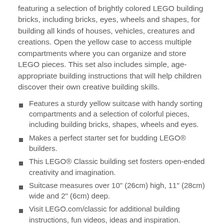featuring a selection of brightly colored LEGO building bricks, including bricks, eyes, wheels and shapes, for building all kinds of houses, vehicles, creatures and creations. Open the yellow case to access multiple compartments where you can organize and store LEGO pieces. This set also includes simple, age-appropriate building instructions that will help children discover their own creative building skills.
Features a sturdy yellow suitcase with handy sorting compartments and a selection of colorful pieces, including building bricks, shapes, wheels and eyes.
Makes a perfect starter set for budding LEGO® builders.
This LEGO® Classic building set fosters open-ended creativity and imagination.
Suitcase measures over 10" (26cm) high, 11" (28cm) wide and 2" (6cm) deep.
Visit LEGO.com/classic for additional building instructions, fun videos, ideas and inspiration.